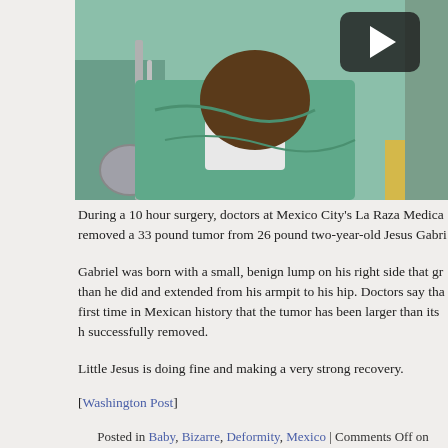[Figure (photo): Video thumbnail showing a medical scene with a person in teal/green surgical clothing, with a dark play button overlay in the upper right corner]
During a 10 hour surgery, doctors at Mexico City's La Raza Medica removed a 33 pound tumor from 26 pound two-year-old Jesus Gabri
Gabriel was born with a small, benign lump on his right side that gr than he did and extended from his armpit to his hip. Doctors say tha first time in Mexican history that the tumor has been larger than its h successfully removed.
Little Jesus is doing fine and making a very strong recovery.
[Washington Post]
Posted in Baby, Bizarre, Deformity, Mexico | Comments Off on Tumor Removed from 26 Pound Boy